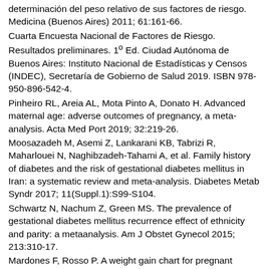determinación del peso relativo de sus factores de riesgo. Medicina (Buenos Aires) 2011; 61:161-66.
Cuarta Encuesta Nacional de Factores de Riesgo. Resultados preliminares. 1º Ed. Ciudad Autónoma de Buenos Aires: Instituto Nacional de Estadísticas y Censos (INDEC), Secretaría de Gobierno de Salud 2019. ISBN 978-950-896-542-4.
Pinheiro RL, Areia AL, Mota Pinto A, Donato H. Advanced maternal age: adverse outcomes of pregnancy, a meta-analysis. Acta Med Port 2019; 32:219-26.
Moosazadeh M, Asemi Z, Lankarani KB, Tabrizi R, Maharlouei N, Naghibzadeh-Tahami A, et al. Family history of diabetes and the risk of gestational diabetes mellitus in Iran: a systematic review and meta-analysis. Diabetes Metab Syndr 2017; 11(Suppl.1):S99-S104.
Schwartz N, Nachum Z, Green MS. The prevalence of gestational diabetes mellitus recurrence effect of ethnicity and parity: a metaanalysis. Am J Obstet Gynecol 2015; 213:310-17.
Mardones F, Rosso P. A weight gain chart for pregnant women designed in Chile. Matern Child Nutr 2005; 1(2):77-90.
Ehremberg HM, Mercer BM, Catalamo PM. The influence of obesity and diabetes on the prevalence of macrosomia. Am J Obstet Gynecol 2004; 191:964-8.